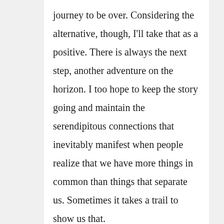journey to be over. Considering the alternative, though, I'll take that as a positive. There is always the next step, another adventure on the horizon. I too hope to keep the story going and maintain the serendipitous connections that inevitably manifest when people realize that we have more things in common than things that separate us. Sometimes it takes a trail to show us that. Thanks for all your support, in person and at a distance. I wish you the very best in